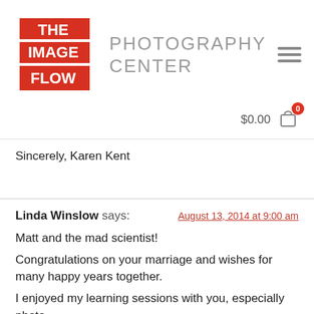[Figure (logo): The Image Flow Photography Center logo — red square block with white text THE IMAGE FLOW stacked, beside gray uppercase text PHOTOGRAPHY CENTER]
Sincerely, Karen Kent
Linda Winslow says: August 13, 2014 at 9:00 am
Matt and the mad scientist!
Congratulations on your marriage and wishes for many happy years together.
I enjoyed my learning sessions with you, especially photo-